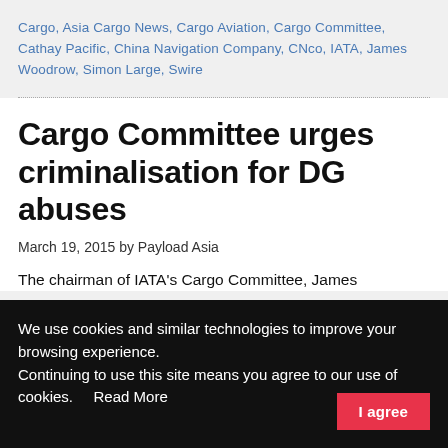Cargo, Asia Cargo News, Cargo Aviation, Cargo Committee, Cathay Pacific, China Navigation Company, CNco, IATA, James Woodrow, Simon Large, Swire
Cargo Committee urges criminalisation for DG abuses
March 19, 2015 by Payload Asia
The chairman of IATA's Cargo Committee, James
We use cookies and similar technologies to improve your browsing experience.
Continuing to use this site means you agree to our use of cookies.   Read More